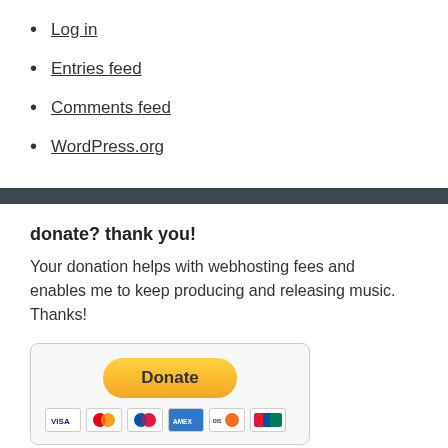Log in
Entries feed
Comments feed
WordPress.org
donate? thank you!
Your donation helps with webhosting fees and enables me to keep producing and releasing music. Thanks!
[Figure (other): PayPal donate button with credit card icons (Visa, Mastercard, Maestro, American Express, Discover, UnionPay)]